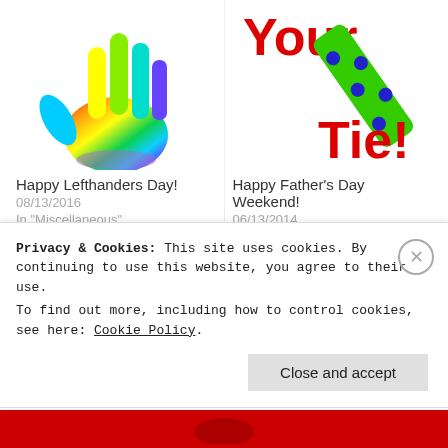[Figure (illustration): Rainbow-colored hand illustration for Lefthanders Day]
Happy Lefthanders Day!
08/13/2016
In "Miscellaneous"
[Figure (illustration): Green dotted diagonal object with red text 'Your' and 'Tie!' visible, Father's Day related]
Happy Father's Day Weekend!
06/13/2014
In "Blog News & Misc"
[Figure (illustration): Mother's Day script title in red italic with rose and leaves illustration below]
Privacy & Cookies: This site uses cookies. By continuing to use this website, you agree to their use.
To find out more, including how to control cookies, see here: Cookie Policy.